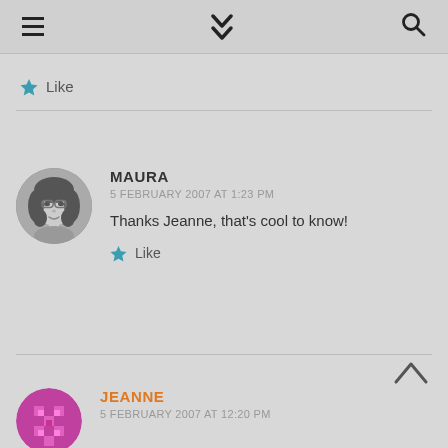Navigation bar with hamburger menu, chevron down, and search icon
★ Like
MAURA
5 FEBRUARY 2007 AT 1:23 PM
Thanks Jeanne, that's cool to know!
★ Like
JEANNE
5 FEBRUARY 2007 AT 12:20 PM